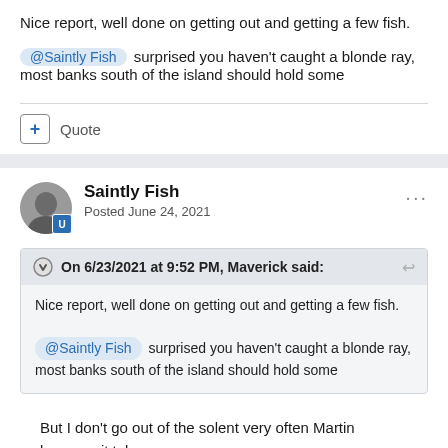Nice report, well done on getting out and getting a few fish. @Saintly Fish surprised you haven't caught a blonde ray, most banks south of the island should hold some
+ Quote
Saintly Fish — Posted June 24, 2021
On 6/23/2021 at 9:52 PM, Maverick said: Nice report, well done on getting out and getting a few fish. @Saintly Fish surprised you haven't caught a blonde ray, most banks south of the island should hold some
But I don't go out of the solent very often Martin because it takes